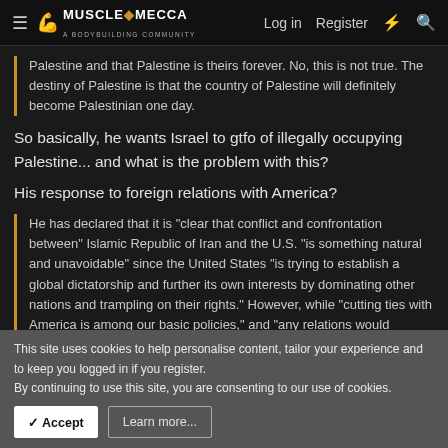MUSCLE MECCA — Log in | Register
Palestine and that Palestine is theirs forever. No, this is not true. The destiny of Palestine is that the country of Palestine will definitely become Palestinian one day.
So basically, he wants Israel to gtfo of illegally occupying Palestine... and what is the problem with this?
His response to foreign relations with America?
He has declared that it is "clear that conflict and confrontation between" Islamic Republic of Iran and the U.S. "is something natural and unavoidable" since the United States "is trying to establish a global dictatorship and further its own interests by dominating other nations and trampling on their rights." However, while "cutting ties with America is among our basic policies," and "any relations would...
This site uses cookies to help personalise content, tailor your experience and to keep you logged in if you register.
By continuing to use this site, you are consenting to our use of cookies.